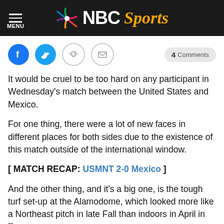NBC Sports
It would be cruel to be too hard on any participant in Wednesday's match between the United States and Mexico.
For one thing, there were a lot of new faces in different places for both sides due to the existence of this match outside of the international window.
[ MATCH RECAP: USMNT 2-0 Mexico ]
And the other thing, and it's a big one, is the tough turf set-up at the Alamodome, which looked more like a Northeast pitch in late Fall than indoors in April in Texas.
For what it's worth and for all his perceived and real